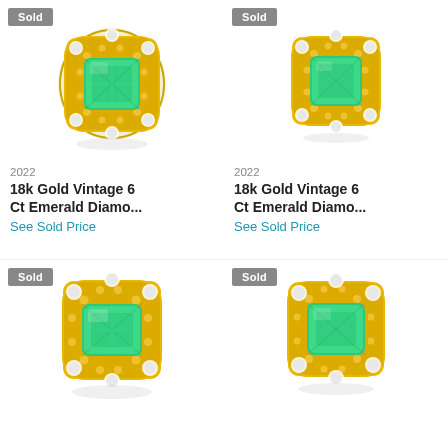[Figure (photo): Gold vintage earring with emerald center stone surrounded by yellow and white diamonds - top left, with Sold badge]
2022
18k Gold Vintage 6 Ct Emerald Diamo...
See Sold Price
[Figure (photo): Gold vintage earring with emerald center stone surrounded by yellow and white diamonds - top right, with Sold badge]
2022
18k Gold Vintage 6 Ct Emerald Diamo...
See Sold Price
[Figure (photo): Gold vintage earring with emerald center stone surrounded by yellow and white diamonds - bottom left, with Sold badge]
[Figure (photo): Gold vintage earring with emerald center stone surrounded by yellow and white diamonds - bottom right, with Sold badge]